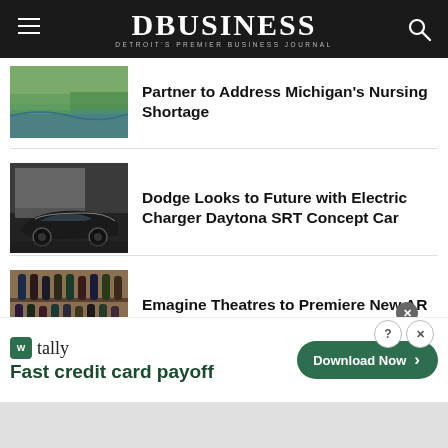DBUSINESS — Detroit's Premier Business Journal
Partner to Address Michigan's Nursing Shortage
[Figure (photo): Outdoor scenic photo with water/lake and greenery]
[Figure (photo): Dark Dodge Charger electric concept car in a garage setting]
Dodge Looks to Future with Electric Charger Daytona SRT Concept Car
[Figure (photo): Wine bottles on a shelf/rack]
Emagine Theatres to Premiere New AR Experiences for Moviegoers
[Figure (screenshot): Tally app advertisement banner: Fast credit card payoff. Download Now button.]